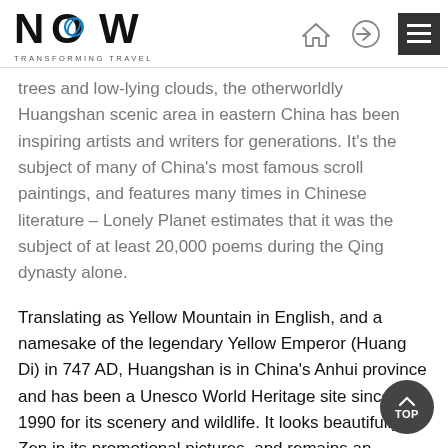NOW TRANSFORMING TRAVEL
trees and low-lying clouds, the otherworldly Huangshan scenic area in eastern China has been inspiring artists and writers for generations. It's the subject of many of China's most famous scroll paintings, and features many times in Chinese literature – Lonely Planet estimates that it was the subject of at least 20,000 poems during the Qing dynasty alone.
Translating as Yellow Mountain in English, and a namesake of the legendary Yellow Emperor (Huang Di) in 747 AD, Huangshan is in China's Anhui province and has been a Unesco World Heritage site since 1990 for its scenery and wildlife. It looks beautifully Zen in its promotional pictures, and remains an inspirational place to visit, most especially off season, early in the morning for sunrise views of the mountains, and for its hiking trails and interesting set of pavilions and temples.
Contemporary artists and poets might find it difficult to find